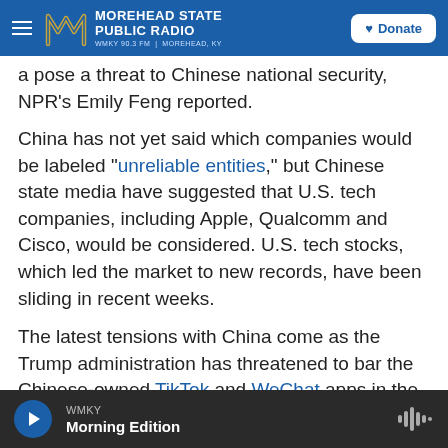Morehead State Public Radio — WMKY 90.3 FM | Morehead, KY — Donate
...a pose a threat to Chinese national security, NPR's Emily Feng reported.
China has not yet said which companies would be labeled "unreliable entities," but Chinese state media have suggested that U.S. tech companies, including Apple, Qualcomm and Cisco, would be considered. U.S. tech stocks, which led the market to new records, have been sliding in recent weeks.
The latest tensions with China come as the Trump administration has threatened to bar the Chinese-owned TikTok and WeChat apps in the United States.
WMKY — Morning Edition (audio player)